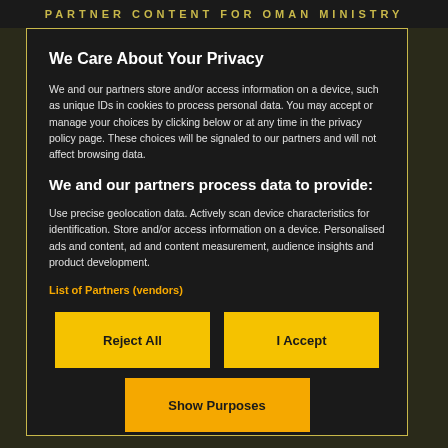PARTNER CONTENT FOR OMAN MINISTRY
We Care About Your Privacy
We and our partners store and/or access information on a device, such as unique IDs in cookies to process personal data. You may accept or manage your choices by clicking below or at any time in the privacy policy page. These choices will be signaled to our partners and will not affect browsing data.
We and our partners process data to provide:
Use precise geolocation data. Actively scan device characteristics for identification. Store and/or access information on a device. Personalised ads and content, ad and content measurement, audience insights and product development.
List of Partners (vendors)
Reject All
I Accept
Show Purposes